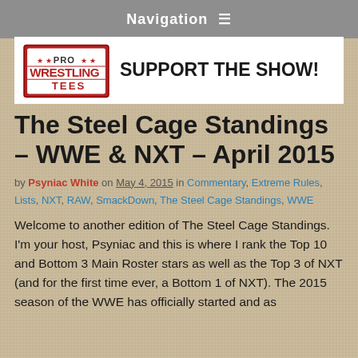Navigation ≡
[Figure (logo): Pro Wrestling Tees logo — red stylized text with stars]
SUPPORT THE SHOW!
The Steel Cage Standings – WWE & NXT – April 2015
by Psyniac White on May 4, 2015 in Commentary, Extreme Rules, Lists, NXT, RAW, SmackDown, The Steel Cage Standings, WWE
Welcome to another edition of The Steel Cage Standings. I'm your host, Psyniac and this is where I rank the Top 10 and Bottom 3 Main Roster stars as well as the Top 3 of NXT (and for the first time ever, a Bottom 1 of NXT). The 2015 season of the WWE has officially started and as